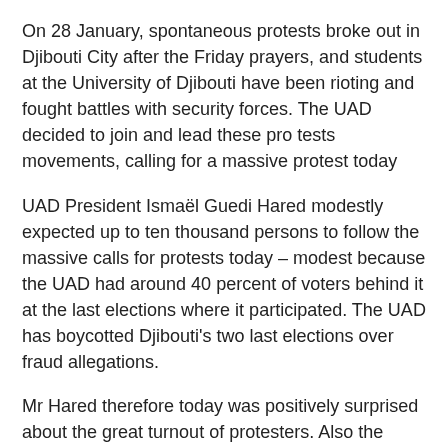On 28 January, spontaneous protests broke out in Djibouti City after the Friday prayers, and students at the University of Djibouti have been rioting and fought battles with security forces. The UAD decided to join and lead these pro tests movements, calling for a massive protest today
UAD President Ismaël Guedi Hared modestly expected up to ten thousand persons to follow the massive calls for protests today – modest because the UAD had around 40 percent of voters behind it at the last elections where it participated. The UAD has boycotted Djibouti's two last elections over fraud allegations.
Mr Hared therefore today was positively surprised about the great turnout of protesters. Also the UAD's slogans are dominant in today's protests. « No to a third term » is the main message of protesters, this evening moving towards the presidential palace.
There have been very few international press reports about the Djibouti protests and its preparations as there are no foreign journalists in the country. National media, totally controlled by government, have not mentioned the protests. The only available sources, also for afrol News, are from the Djiboutian opposition